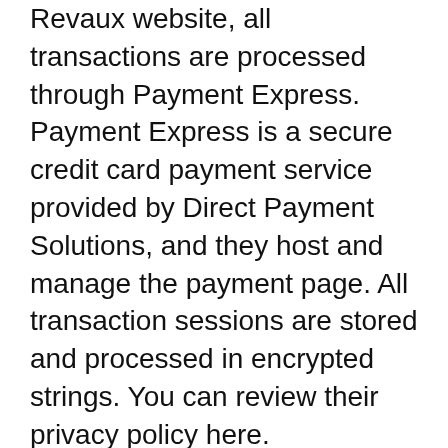Revaux website, all transactions are processed through Payment Express. Payment Express is a secure credit card payment service provided by Direct Payment Solutions, and they host and manage the payment page. All transaction sessions are stored and processed in encrypted strings. You can review their privacy policy here.
The name that will appear on cardholder statements: Privé Revaux
Due to the nature of our business being online retail we have a number of security checks in place to protect our website and our customers from such things as credit card theft. Our order system will automatically put orders on hold if it includes such things as high valued items or if a